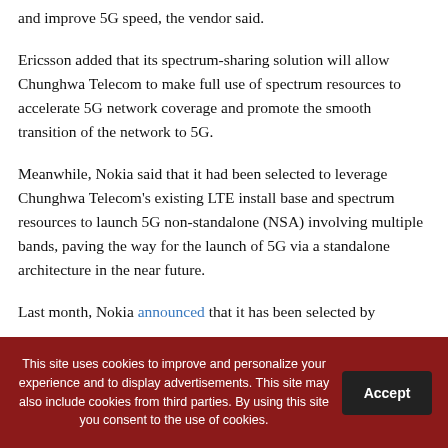and improve 5G speed, the vendor said.
Ericsson added that its spectrum-sharing solution will allow Chunghwa Telecom to make full use of spectrum resources to accelerate 5G network coverage and promote the smooth transition of the network to 5G.
Meanwhile, Nokia said that it had been selected to leverage Chunghwa Telecom's existing LTE install base and spectrum resources to launch 5G non-standalone (NSA) involving multiple bands, paving the way for the launch of 5G via a standalone architecture in the near future.
Last month, Nokia announced that it has been selected by
This site uses cookies to improve and personalize your experience and to display advertisements. This site may also include cookies from third parties. By using this site you consent to the use of cookies.